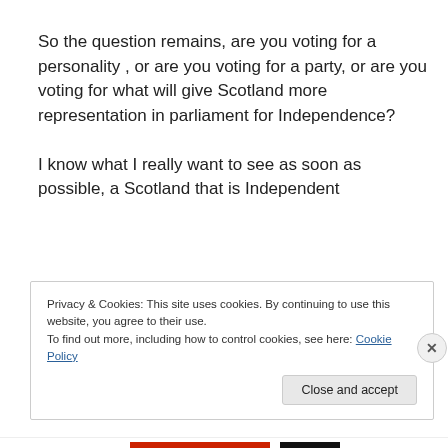So the question remains, are you voting for a personality , or are you voting for a party, or are you voting for what will give Scotland more representation in parliament for Independence?
I know what I really want to see as soon as possible, a Scotland that is Independent
Privacy & Cookies: This site uses cookies. By continuing to use this website, you agree to their use.
To find out more, including how to control cookies, see here: Cookie Policy